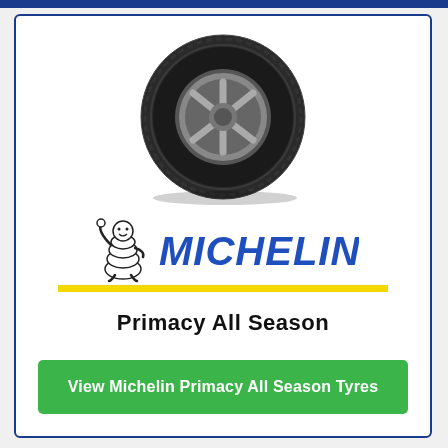[Figure (photo): Michelin Primacy All Season tire with alloy wheel, angled view on white background]
[Figure (logo): Michelin logo: Bibendum mascot (white figure waving) with MICHELIN text in blue italic bold letters, yellow underline bar]
Primacy All Season
View Michelin Primacy All Season Tyres